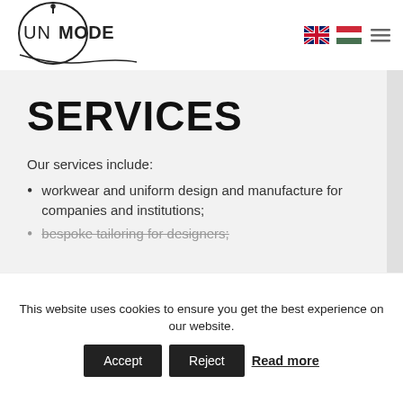[Figure (logo): UNIMODE logo with circular needle and thread design, text reads UNIMODE]
[Figure (other): UK flag icon, Hungarian flag icon, and hamburger menu icon in the top-right navigation]
SERVICES
Our services include:
workwear and uniform design and manufacture for companies and institutions;
bespoke tailoring for designers;
This website uses cookies to ensure you get the best experience on our website.
Accept  Reject  Read more